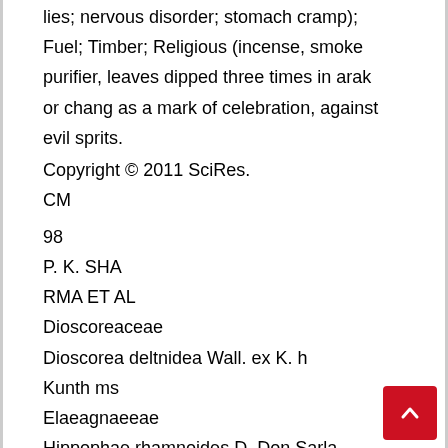lies; nervous disorder; stomach cramp); Fuel; Timber; Religious (incense, smoke purifier, leaves dipped three times in arak or chang as a mark of celebration, against evil sprits.
Copyright © 2011 SciRes.
CM
98
P. K. SHA
RMA ET AL
Dioscoreaceae
Dioscorea deltnidea Wall. ex K. h
Kunth ms
Elaeagnaeeae
Hippophae rhamnoides D. Don Sarla